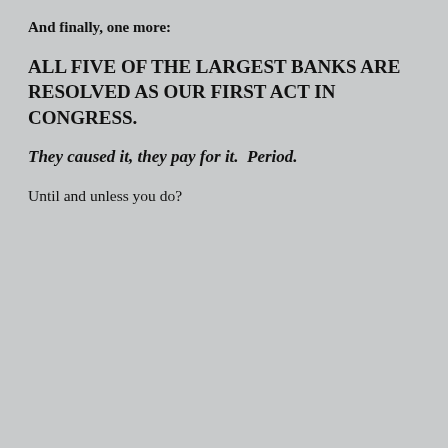And finally, one more:
ALL FIVE OF THE LARGEST BANKS ARE RESOLVED AS OUR FIRST ACT IN CONGRESS.
They caused it, they pay for it.  Period.
Until and unless you do?